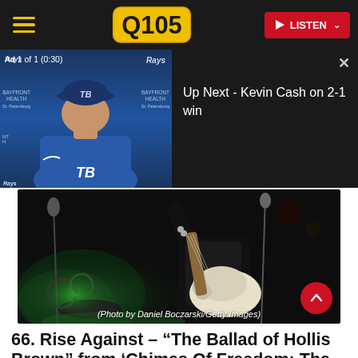Q105 | LISTEN
[Figure (screenshot): Ad video overlay showing Tampa Bay Rays press conference on left side with 'Ad 1 of 1 (0:30)' label, and 'Up Next - Kevin Cash on 2-1 win' text on dark right panel with close X button]
[Figure (photo): Concert photo of guitarist (Rise Against member) playing white electric guitar on dark stage with green lighting; caption reads '(Photo by Daniel Boczarski/Getty Images)']
(Photo by Daniel Boczarski/Getty Images)
66. Rise Against – “The Ballad of Hollis Brown” from ‘Chimes Of Freedom: The Songs Of Bob Dylan